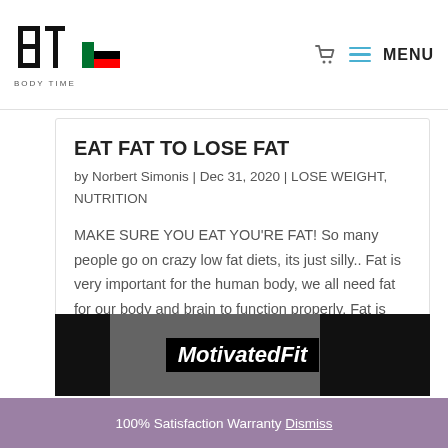Body Time | UAE Flag | Cart | MENU
EAT FAT TO LOSE FAT
by Norbert Simonis | Dec 31, 2020 | LOSE WEIGHT, NUTRITION
MAKE SURE YOU EAT YOU'RE FAT! So many people go on crazy low fat diets, its just silly.. Fat is very important for the human body, we all need fat for our body and brain to function properly. Fat is also very important in hormone regulation especially testosterone...
[Figure (screenshot): MotivatedFit branded image strip showing a person and the text 'MotivatedFit' in italic white font on a black banner]
100% Satisfaction Warranty Dismiss